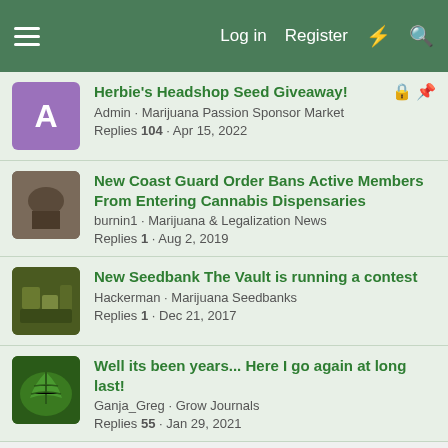Log in  Register
Herbie's Headshop Seed Giveaway! — Admin · Marijuana Passion Sponsor Market — Replies 104 · Apr 15, 2022
New Coast Guard Order Bans Active Members From Entering Cannabis Dispensaries — burnin1 · Marijuana & Legalization News — Replies 1 · Aug 2, 2019
New Seedbank The Vault is running a contest — Hackerman · Marijuana Seedbanks — Replies 1 · Dec 21, 2017
Well its been years... Here I go again at long last! — Ganja_Greg · Grow Journals — Replies 55 · Jan 29, 2021
Share:
< Marijuana Seedbanks